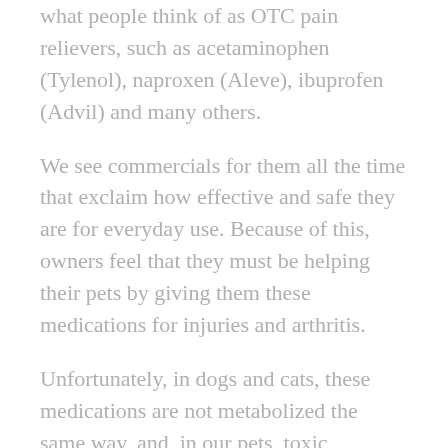what people think of as OTC pain relievers, such as acetaminophen (Tylenol), naproxen (Aleve), ibuprofen (Advil) and many others.
We see commercials for them all the time that exclaim how effective and safe they are for everyday use. Because of this, owners feel that they must be helping their pets by giving them these medications for injuries and arthritis.
Unfortunately, in dogs and cats, these medications are not metabolized the same way, and, in our pets, toxic chemicals are created in the body. These toxic chemicals can cause kidney failure, liver failure, stomach ulcers, and even keep the blood from being able to carry oxygen.
With known ingestion, it is important to get your pet to the vet immediately. If too much time has passed